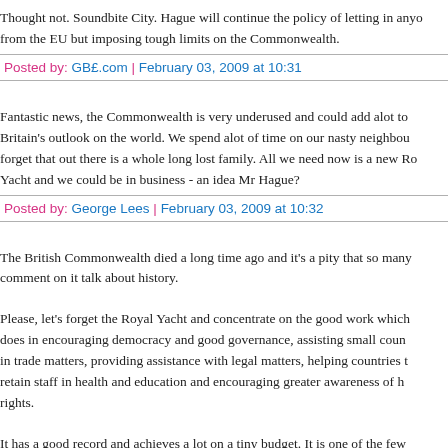Thought not. Soundbite City. Hague will continue the policy of letting in anyone from the EU but imposing tough limits on the Commonwealth.
Posted by: GBE.com | February 03, 2009 at 10:31
Fantastic news, the Commonwealth is very underused and could add alot to Britain's outlook on the world. We spend alot of time on our nasty neighbours and forget that out there is a whole long lost family. All we need now is a new Royal Yacht and we could be in business - an idea Mr Hague?
Posted by: George Lees | February 03, 2009 at 10:32
The British Commonwealth died a long time ago and it's a pity that so many who comment on it talk about history.
Please, let's forget the Royal Yacht and concentrate on the good work which it does in encouraging democracy and good governance, assisting small countries in trade matters, providing assistance with legal matters, helping countries to retain staff in health and education and encouraging greater awareness of human rights.
It has a good record and achieves a lot on a tiny budget. It is one of the few organisations which gives countries from all continents and all sizes the cha...